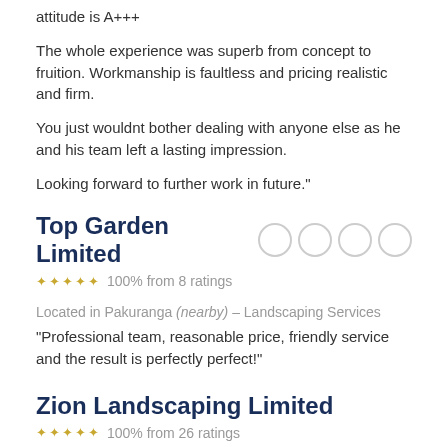attitude is A+++
The whole experience was superb from concept to fruition. Workmanship is faultless and pricing realistic and firm.
You just wouldnt bother dealing with anyone else as he and his team left a lasting impression.
Looking forward to further work in future."
Top Garden Limited
100% from 8 ratings
Located in Pakuranga (nearby) – Landscaping Services
"Professional team, reasonable price, friendly service and the result is perfectly perfect!"
Zion Landscaping Limited
100% from 26 ratings